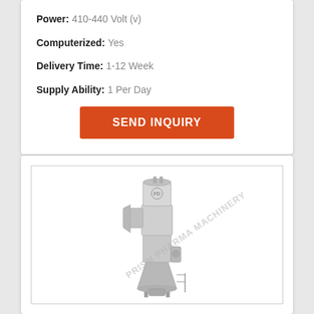Power: 410-440 Volt (v)
Computerized: Yes
Delivery Time: 1-12 Week
Supply Ability: 1 Per Day
SEND INQUIRY
[Figure (photo): Industrial pharmaceutical fluid bed dryer or granulator machine, stainless steel, tall cylindrical tower with conical base and attached pipes/components. Watermark reads PRISM PHARMA MACHINERY.]